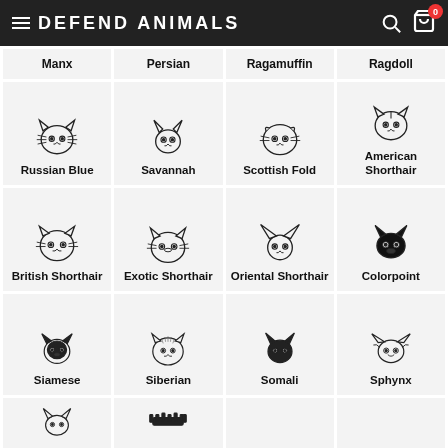DEFEND ANIMALS
Manx | Persian | Ragamuffin | Ragdoll
[Figure (illustration): Grid of cat breed icons with names: Russian Blue, Savannah, Scottish Fold, American Shorthair]
[Figure (illustration): Grid of cat breed icons with names: British Shorthair, Exotic Shorthair, Oriental Shorthair, Colorpoint]
[Figure (illustration): Grid of cat breed icons with names: Siamese, Siberian, Somali, Sphynx]
[Figure (illustration): Partial bottom row of cat breed icons (two visible)]